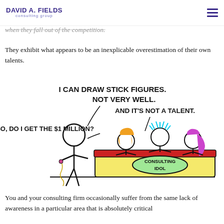DAVID A. FIELDS consulting group
when they fall out of the competition.
They exhibit what appears to be an inexplicable overestimation of their own talents.
[Figure (illustration): Stick figure cartoon showing a person holding a microphone saying 'I CAN DRAW STICK FIGURES. NOT VERY WELL. AND IT'S NOT A TALENT.' and asking 'SO, DO I GET THE $1 MILLION?' to three judges sitting behind a desk labeled 'CONSULTING IDOL'. One judge has glowing blue hair, one has orange/yellow hair, and one has purple hair.]
You and your consulting firm occasionally suffer from the same lack of awareness in a particular area that is absolutely critical